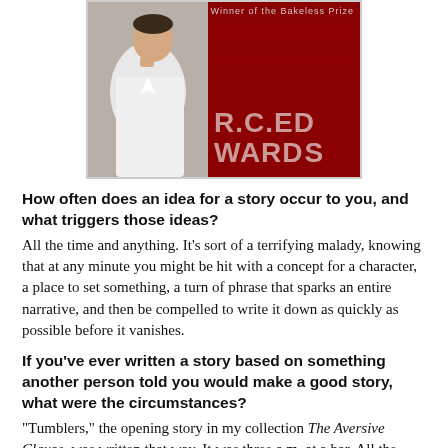[Figure (photo): Author photo on left side showing a man in white shirt with hand near chin, and book cover on right side with red background showing stylized text 'R.C. Edwards']
How often does an idea for a story occur to you, and what triggers those ideas?
All the time and anything. It's sort of a terrifying malady, knowing that at any minute you might be hit with a concept for a character, a place to set something, a turn of phrase that sparks an entire narrative, and then be compelled to write it down as quickly as possible before it vanishes.
If you've ever written a story based on something another person told you would make a good story, what were the circumstances?
"Tumblers," the opening story in my collection The Aversive Clause, was written that way. It was three a.m. at a bar. All the parties were drunk, no one was taking notes, nothing was remembered accurately. I think that's the best way to do